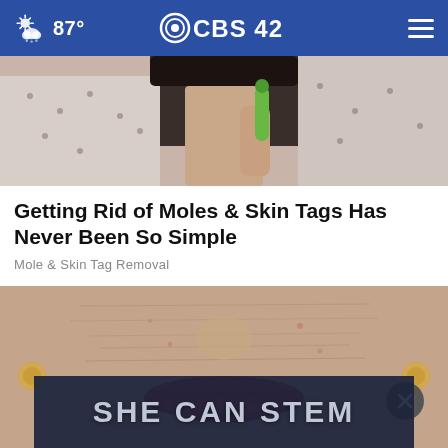87° CBS 42
[Figure (photo): A person holding a green device near their neck, partial view of woman in patterned shirt]
Getting Rid of Moles & Skin Tags Has Never Been So Simple
Mole & Skin Tag Removal
[Figure (photo): Close-up of an elderly woman's face showing lips with red lipstick and wrinkled skin, with a 'SHE CAN STEM' promotional banner overlay and a close button]